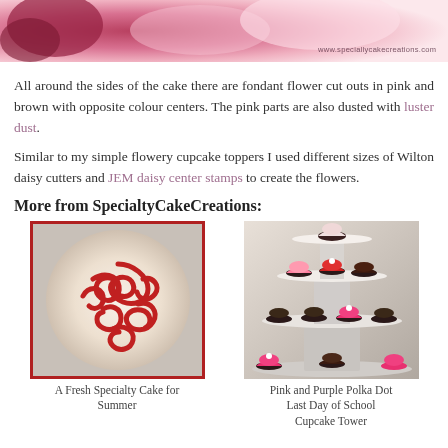[Figure (photo): Top portion of a cake photo with pink/floral decorations and website watermark www.speciallycakecreations.com]
All around the sides of the cake there are fondant flower cut outs in pink and brown with opposite colour centers. The pink parts are also dusted with luster dust.
Similar to my simple flowery cupcake toppers I used different sizes of Wilton daisy cutters and JEM daisy center stamps to create the flowers.
More from SpecialtyCakeCreations:
[Figure (photo): A round cake with red swirl decorative pattern on white frosting]
A Fresh Specialty Cake for Summer
[Figure (photo): A three-tiered cupcake stand with pink, red and chocolate cupcakes]
Pink and Purple Polka Dot Last Day of School Cupcake Tower